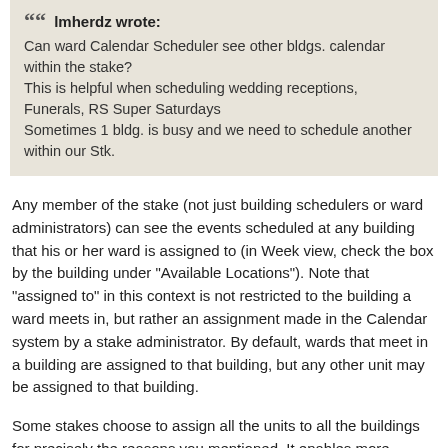lmherdz wrote: Can ward Calendar Scheduler see other bldgs. calendar within the stake? This is helpful when scheduling wedding receptions, Funerals, RS Super Saturdays Sometimes 1 bldg. is busy and we need to schedule another within our Stk.
Any member of the stake (not just building schedulers or ward administrators) can see the events scheduled at any building that his or her ward is assigned to (in Week view, check the box by the building under "Available Locations"). Note that "assigned to" in this context is not restricted to the building a ward meets in, but rather an assignment made in the Calendar system by a stake administrator. By default, wards that meet in a building are assigned to that building, but any other unit may be assigned to that building.
Some stakes choose to assign all the units to all the buildings for precisely the reasons you mentioned. It enables more flexibility in scheduling events. That practice can create some tension if wards who meet in another building overuse this privilege -- then the wards that meet in a building can feel that other wards are using "their building" too much. But used prudently, this can be a good arrangement.